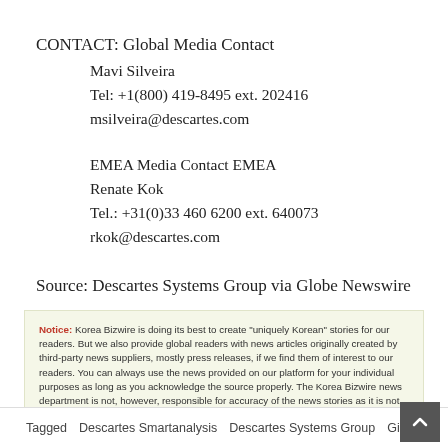CONTACT: Global Media Contact
Mavi Silveira
Tel: +1(800) 419-8495 ext. 202416
msilveira@descartes.com
EMEA Media Contact EMEA
Renate Kok
Tel.: +31(0)33 460 6200 ext. 640073
rkok@descartes.com
Source: Descartes Systems Group via Globe Newswire
Notice: Korea Bizwire is doing its best to create "uniquely Korean" stories for our readers. But we also provide global readers with news articles originally created by third-party news suppliers, mostly press releases, if we find them of interest to our readers. You can always use the news provided on our platform for your individual purposes as long as you acknowledge the source properly. The Korea Bizwire news department is not, however, responsible for accuracy of the news stories as it is not involved in the creation of the content.
Tagged   Descartes Smartanalysis   Descartes Systems Group   Gist